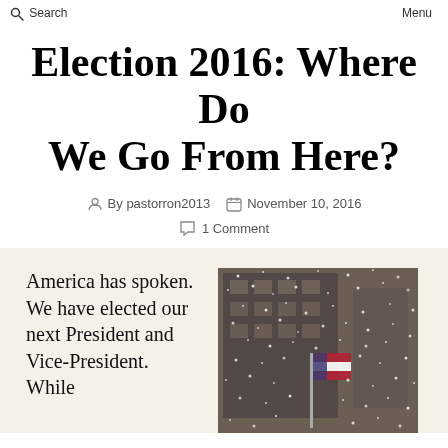Search   Menu
Election 2016: Where Do We Go From Here?
By pastorron2013   November 10, 2016
1 Comment
America has spoken. We have elected our next President and Vice-President. While
[Figure (photo): Snowy scene outside a building with an American flag]